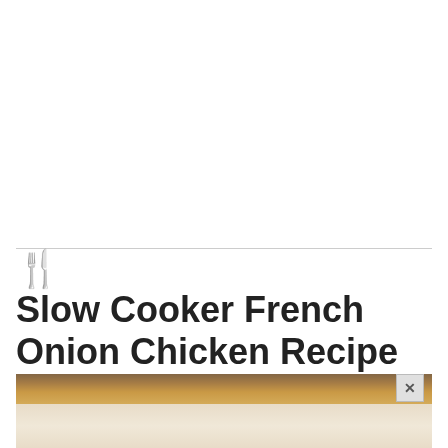🍴 Slow Cooker French Onion Chicken Recipe
[Figure (photo): Food photograph showing slow cooker French onion chicken dish, partially visible at bottom of page]